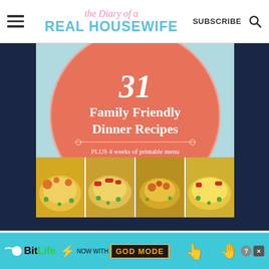the Diary of a REAL HOUSEWIFE — SUBSCRIBE
[Figure (illustration): Book cover for '31 Family Friendly Dinner Recipes PLUS 4 weeks of printable menu plans and shopping lists! by Jennie Duncan' with coral circle design on light blue background and food photos at bottom, displayed on a website screenshot with navigation bar and advertisement banner at bottom reading 'BitLife NOW WITH GOD MODE']